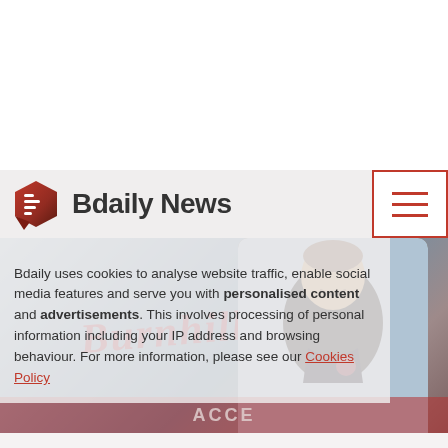[Figure (screenshot): Bdaily News website screenshot showing the site header with logo, site title 'Bdaily News', hamburger menu button, a cookie consent overlay message, and a background photo of a smiling man in a dark polo shirt standing in front of a Burnhill sign]
Bdaily uses cookies to analyse website traffic, enable social media features and serve you with personalised content and advertisements. This involves processing of personal information including your IP address and browsing behaviour. For more information, please see our Cookies Policy
MEMBER